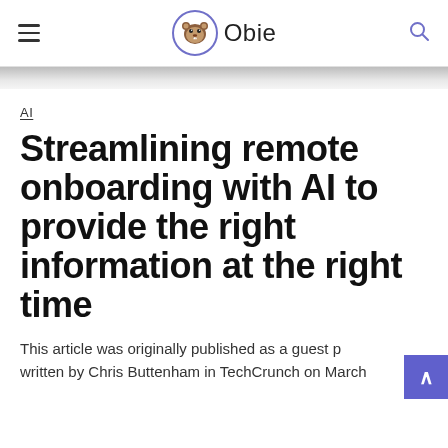≡  Obie  🔍
[Figure (photo): Partial hero image bar, gray gradient strip]
AI
Streamlining remote onboarding with AI to provide the right information at the right time
This article was originally published as a guest post written by Chris Buttenham in TechCrunch on March